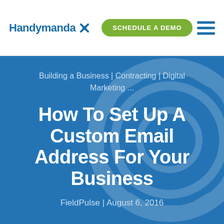Handymanda | SCHEDULE A DEMO
Building a Business | Contracting | Digital Marketing ...
How To Set Up A Custom Email Address For Your Business
FieldPulse | August 6, 2016